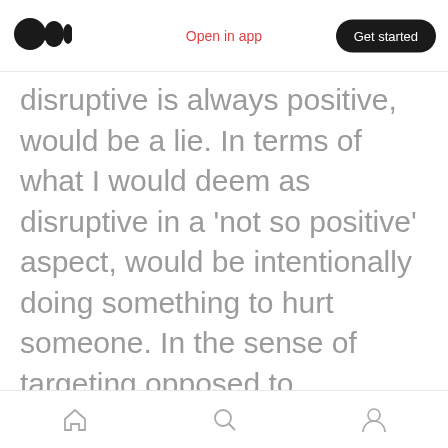[Figure (logo): Medium logo - two black circles overlapping]
Open in app
Get started
disruptive is always positive, would be a lie. In terms of what I would deem as disruptive in a ‘not so positive’ aspect, would be intentionally doing something to hurt someone. In the sense of targeting opposed to
[Figure (infographic): Bottom navigation bar with home icon, search icon, and profile icon]